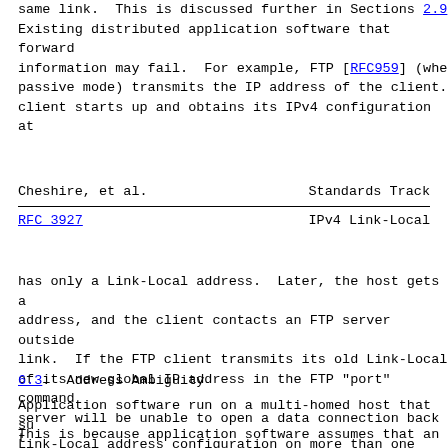same link.  This is discussed further in Sections 2.9
Existing distributed application software that forwards
information may fail.  For example, FTP [RFC959] (when
passive mode) transmits the IP address of the client.
client starts up and obtains its IPv4 configuration at
Cheshire, et al.          Standards Track
RFC 3927                        IPv4 Link-Local
has only a Link-Local address.  Later, the host gets a
address, and the client contacts an FTP server outside
link.  If the FTP client transmits its old Link-Local
of its new global IP address in the FTP "port" command
server will be unable to open a data connection back t
and the FTP operation will fail.
6.3.  Address Ambiguity
Application software run on a multi-homed host that su
Link-Local address configuration on more than one inte
This is because application software assumes that an I
unambiguous, that it can refer to only one host.  IPv4
addresses are unique only on a single link.  A host st